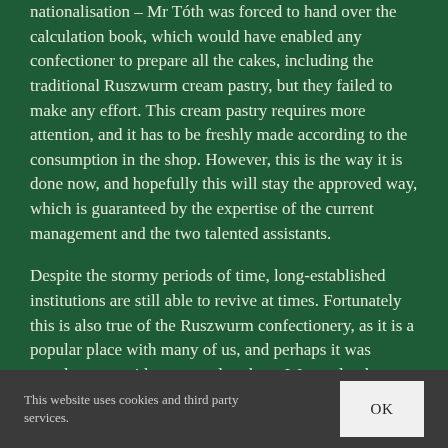nationalisation – Mr Tóth was forced to hand over the calculation book, which would have enabled any confectioner to prepare all the cakes, including the traditional Ruszwurm cream pastry, but they failed to make any effort. This cream pastry requires more attention, and it has to be freshly made according to the consumption in the shop. However, this is the way it is done now, and hopefully this will stay the approved way, which is guaranteed by the expertise of the current management and the two talented assistants.
Despite the stormy periods of time, long-established institutions are still able to revive at times. Fortunately this is also true of the Ruszwurm confectionery, as it is a popular place with many of us, and perhaps it was popular even with our grandmothers. We used to hear on the radio, sometimes even today, the pleasant baritone voice of the former actor Andor Ajtay singing "...it is nice to have a rendezvous in the evening at Ruszwurm", when "... the
This website uses cookies and third party services.
OK